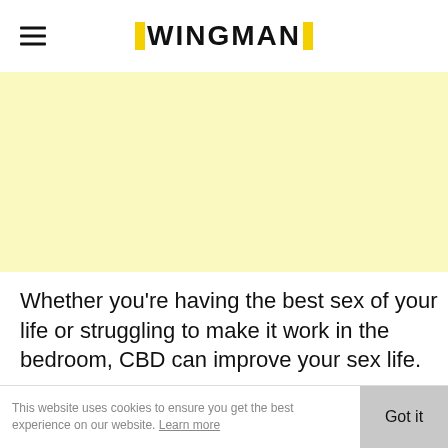WINGMAN
[Figure (other): Yellow/cream colored banner advertisement area]
Whether you're having the best sex of your life or struggling to make it work in the bedroom, CBD can improve your sex life.
Did you find this blog post on CBD and sex helpful and interesting? You can discover much more on our website.
This website uses cookies to ensure you get the best experience on our website. Learn more   Got it